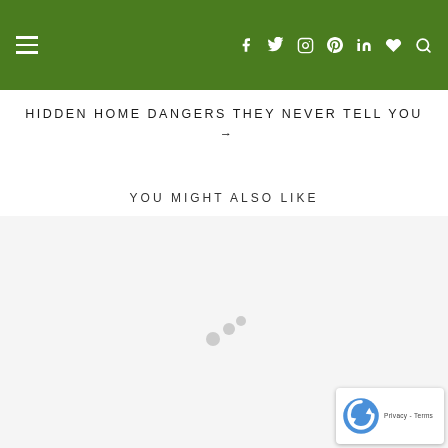≡  f  twitter  instagram  pinterest  in  ♥  🔍
HIDDEN HOME DANGERS THEY NEVER TELL YOU →
YOU MIGHT ALSO LIKE
[Figure (other): Loading spinner with three dots in an L-shaped arrangement on a light gray background]
[Figure (other): Google reCAPTCHA badge with logo and Privacy - Terms text]